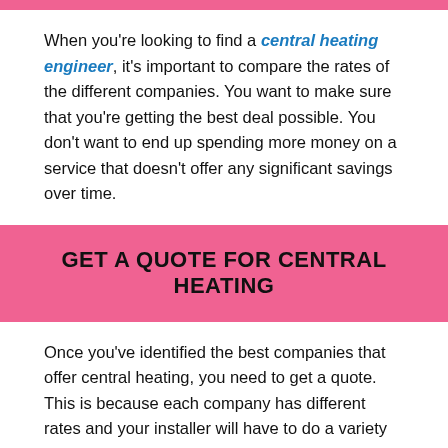When you're looking to find a central heating engineer, it's important to compare the rates of the different companies. You want to make sure that you're getting the best deal possible. You don't want to end up spending more money on a service that doesn't offer any significant savings over time.
GET A QUOTE FOR CENTRAL HEATING
Once you've identified the best companies that offer central heating, you need to get a quote. This is because each company has different rates and your installer will have to do a variety of things in order to install and service your central heating system. You don't want to be surprised when your installer comes to your home and doesn't have a specific price for